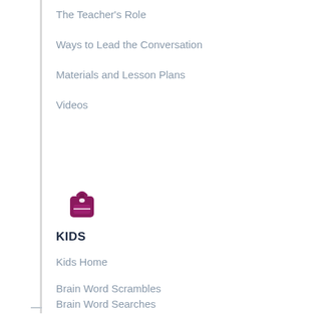The Teacher's Role
Ways to Lead the Conversation
Materials and Lesson Plans
Videos
[Figure (logo): Purple/magenta backpack icon for Kids section]
KIDS
Kids Home
Brain Word Scrambles
Brain Word Searches